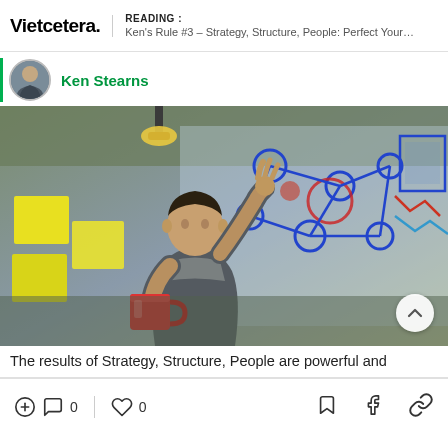Vietcetera. | READING : Ken's Rule #3 – Strategy, Structure, People: Perfect Your...
Ken Stearns
[Figure (photo): A man holding a red coffee mug, reaching up to draw or point at a network diagram drawn in blue and red on a glass board, with yellow sticky notes on the left side.]
The results of Strategy, Structure, People are powerful and
0 comments | 0 likes | bookmark | facebook | link